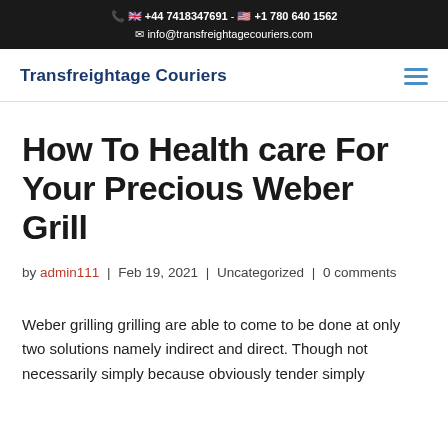📞 🇬🇧 +44 7418347691 - 🇺🇸 +1 780 640 1562 ✉ info@transfreightagecouriers.com
Transfreightage Couriers
How To Health care For Your Precious Weber Grill
by admin111 | Feb 19, 2021 | Uncategorized | 0 comments
Weber grilling grilling are able to come to be done at only two solutions namely indirect and direct. Though not necessarily simply because obviously tender simply